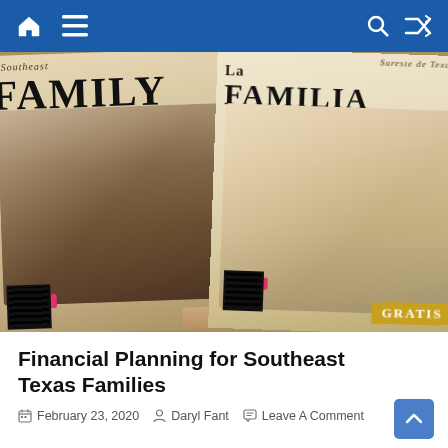Navigation bar with home, menu, search, and shuffle icons
[Figure (photo): Two magazine covers held up: left cover shows 'Family' magazine with a father and child, right cover shows 'La Familia' magazine in Spanish with a mother and baby. The right cover has 'GRATIS' on a gold badge. Both covers have QR codes and social media icons.]
Financial Planning for Southeast Texas Families
February 23, 2020   Daryl Fant   Leave A Comment